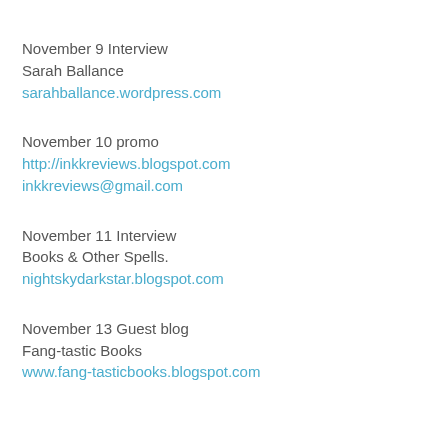November 9 Interview
Sarah Ballance
sarahballance.wordpress.com
November 10 promo
http://inkkreviews.blogspot.com
inkkreviews@gmail.com
November 11 Interview
Books & Other Spells.
nightskydarkstar.blogspot.com
November 13 Guest blog
Fang-tastic Books
www.fang-tasticbooks.blogspot.com